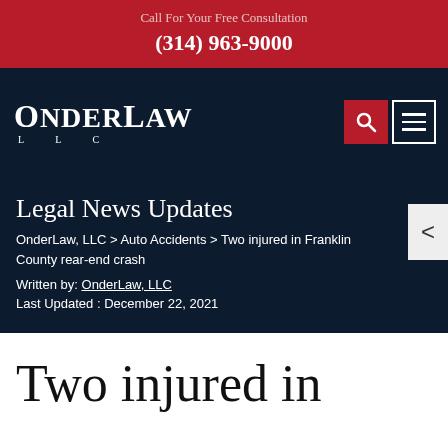Call For Your Free Consultation
(314) 963-9000
[Figure (logo): OnderLaw LLC logo with search and menu icons on dark navy background]
Legal News Updates
OnderLaw, LLC > Auto Accidents > Two injured in Franklin County rear-end crash
Written by: OnderLaw, LLC
Last Updated : December 22, 2021
Two injured in